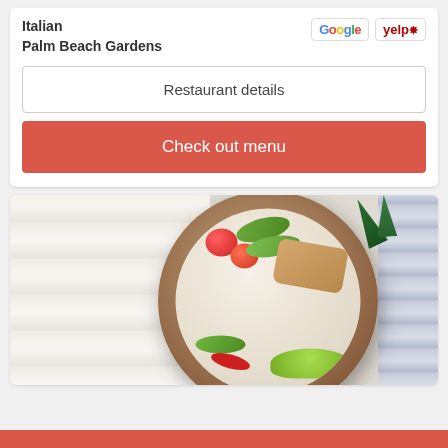Italian
Palm Beach Gardens
Restaurant details
Check out menu
[Figure (photo): Overhead view of a bowl filled with salad: tomatoes, avocado slices, grilled chicken, cucumber, lettuce, and red peppers on a white wood background]